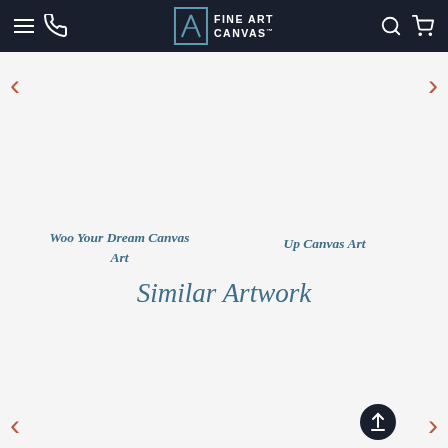Fine Art Canvas™ — navigation bar with hamburger menu, phone icon, logo, search icon, cart icon
Woo Your Dream Canvas Art
Up Canvas Art
Similar Artwork